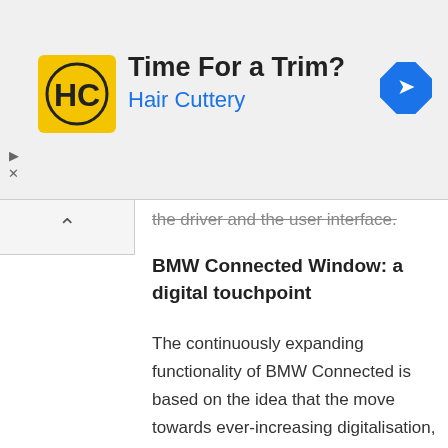[Figure (infographic): Advertisement banner for Hair Cuttery with logo, title 'Time For a Trim?', subtitle 'Hair Cuttery', and navigation icon]
the driver and the user interface.
BMW Connected Window: a digital touchpoint
The continuously expanding functionality of BMW Connected is based on the idea that the move towards ever-increasing digitalisation, whether on the move or in the home, is set to promote the extensive yet at the same time precisely personalised link-up of every area of our lives. Using the Open Mobility Cloud, BMW Connected will be seamlessly integrated into multiple digital touchpoints. At CES 2017 BMW will be presenting the BMW Connected Window vision to illustrate the possibilities